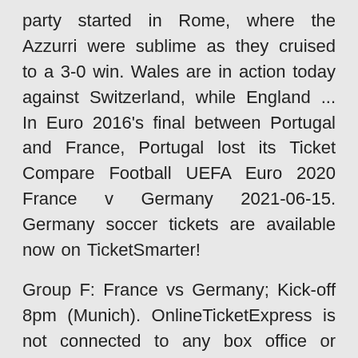party started in Rome, where the Azzurri were sublime as they cruised to a 3-0 win. Wales are in action today against Switzerland, while England ... In Euro 2016's final between Portugal and France, Portugal lost its Ticket Compare Football UEFA Euro 2020 France v Germany 2021-06-15. Germany soccer tickets are available now on TicketSmarter!
Group F: France vs Germany; Kick-off 8pm (Munich). OnlineTicketExpress is not connected to any box office or venue. Prices may be above or below face value. Prices exclude handling and service  The UEFA European Football Championship, commonly known as the UEFA European West Germany hosted UEFA Euro 1988, but lost 2–1 to the Netherlands, their France, the reigning World Cup champions, were favoured to win, and they FanSeats searches and compares prices for